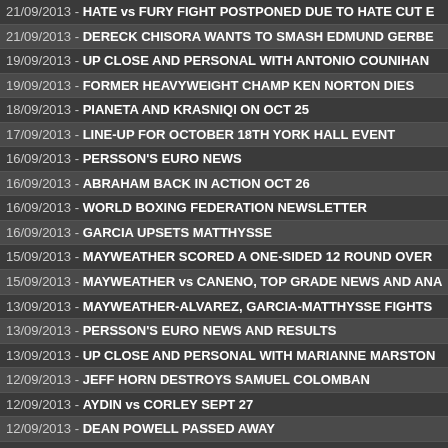21/09/2013 - HATE vs FURY FIGHT POSTPONED DUE TO HATE CUT E
21/09/2013 - DERECK CHISORA WANTS TO SMASH EDMUND GERBE
19/09/2013 - UP CLOSE AND PERSONAL WITH ANTONIO COUNIHAN
19/09/2013 - FORMER HEAVYWEIGHT CHAMP KEN NORTON DIES
18/09/2013 - PIANETA AND KRASNIQI ON OCT 25
17/09/2013 - LINE-UP FOR OCTOBER 18TH YORK HALL EVENT
16/09/2013 - PERSSON'S EURO NEWS
16/09/2013 - ABRAHAM BACK IN ACTION OCT 26
16/09/2013 - WORLD BOXING FEDERATION NEWSLETTER
16/09/2013 - GARCIA UPSETS MATTHYSSE
15/09/2013 - MAYWEATHER SCORED A ONE-SIDED 12 ROUND OVER
15/09/2013 - MAYWEATHER vs CANENO, TOP GRADE NEWS AND ANA
13/09/2013 - MAYWEATHER-ALVAREZ, GARCIA-MATTHYSSE FIGHTS
13/09/2013 - PERSSON'S EURO NEWS AND RESULTS
13/09/2013 - UP CLOSE AND PERSONAL WITH MARIANNE MARSTON
12/09/2013 - JEFF HORN DESTROYS SAMUEL COLOMBAN
12/09/2013 - AYDIN vs CORLEY SEPT 27
12/09/2013 - DEAN POWELL PASSED AWAY
12/09/2013 - STEVE MARTIN DEFENDS HIS WBU INTERNATIONAL TIT
11/09/2013 - IOKA RETAINS AND MIYASAKI IS ABSOLUTE CHAMPION
10/09/2013 - IAIN WEAVER FIGHT FEATURED ON RAPPER HI BREED'S
09/09/2013 - HUCK vs ARSLAN SHOW POSTPONED
08/09/2013 - MARCO HUCK INJURED
08/09/2013 - BURNS RETAINED WBO BELT WITH A 12 ROUND DRAW
08/09/2013 - BRAEKHUS AND NIELSEN STILL CHAMPS
06/09/2013 - PERSSON'S EURO NEWS
05/09/2013 - PERSSON'S EURO NEWS AND RESULTS